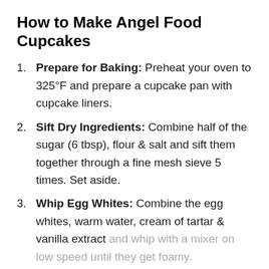How to Make Angel Food Cupcakes
Prepare for Baking: Preheat your oven to 325°F and prepare a cupcake pan with cupcake liners.
Sift Dry Ingredients: Combine half of the sugar (6 tbsp), flour & salt and sift them together through a fine mesh sieve 5 times. Set aside.
Whip Egg Whites: Combine the egg whites, warm water, cream of tartar & vanilla extract and whip with a mixer on low speed until they get foamy.